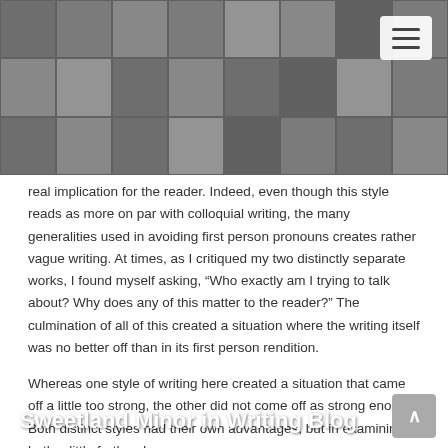[Figure (photo): Mosaic collage of photos forming the blog header background with a hamburger menu button in the top right corner]
Sweetland Minor in Writing Blog
real implication for the reader. Indeed, even though this style reads as more on par with colloquial writing, the many generalities used in avoiding first person pronouns creates rather vague writing. At times, as I critiqued my two distinctly separate works, I found myself asking, “Who exactly am I trying to talk about? Why does any of this matter to the reader?” The culmination of all of this created a situation where the writing itself was no better off than in its first person rendition.
Whereas one style of writing here created a situation that came off a little too strong, the other did not come off as strong enough. Both distinct styles had their own advantages, but in examining both a little further, I